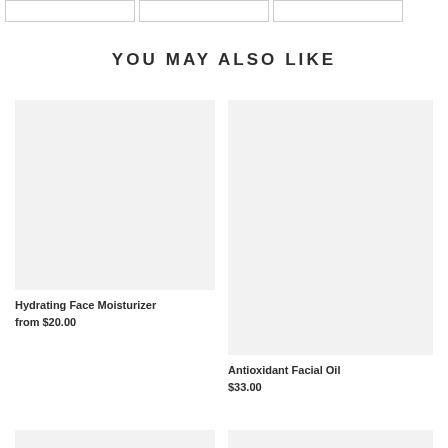[Figure (other): Three small placeholder image boxes at top of page]
YOU MAY ALSO LIKE
[Figure (other): Placeholder product image for Hydrating Face Moisturizer]
Hydrating Face Moisturizer
from $20.00
[Figure (other): Placeholder product image for Antioxidant Facial Oil]
Antioxidant Facial Oil
$33.00
[Figure (other): Placeholder product image bottom left]
[Figure (other): Placeholder product image bottom right]